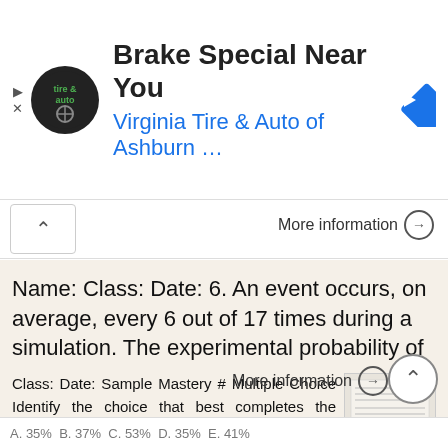[Figure (screenshot): Advertisement banner for Virginia Tire & Auto of Ashburn with logo and navigation icon]
More information →
Name: Class: Date: 6. An event occurs, on average, every 6 out of 17 times during a simulation. The experimental probability of
Class: Date: Sample Mastery # Multiple Choice Identify the choice that best completes the statement or answers the question.. One repetition of an experiment is known as a(n) random variable expected value
More information →
A. 35% B. 37% C. 53% D. 35% E. 41% (partial)